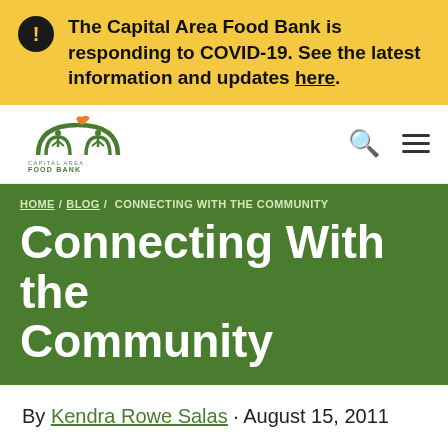The Capital Area Food Bank is responding to COVID-19. See the latest information and updates here.
[Figure (logo): Capital Area Food Bank logo with green arch figures and orange leaf/bird motif above the text 'CAPITAL AREA FOOD BANK']
HOME / BLOG / CONNECTING WITH THE COMMUNITY
Connecting With the Community
By Kendra Rowe Salas · August 15, 2011
It is easy to get caught up in the day-to-day